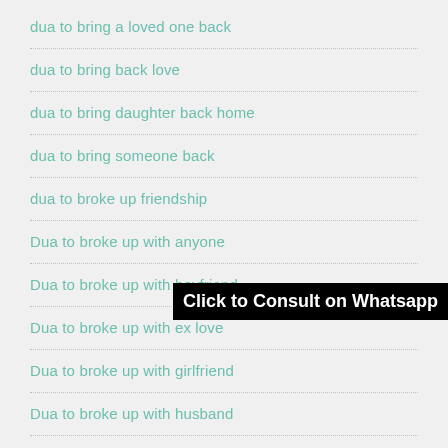dua to bring a loved one back
dua to bring back love
dua to bring daughter back home
dua to bring someone back
dua to broke up friendship
Dua to broke up with anyone
Dua to broke up with boyfriend
Dua to broke up with ex love
Dua to broke up with girlfriend
Dua to broke up with husband
Click to Consult on Whatsapp